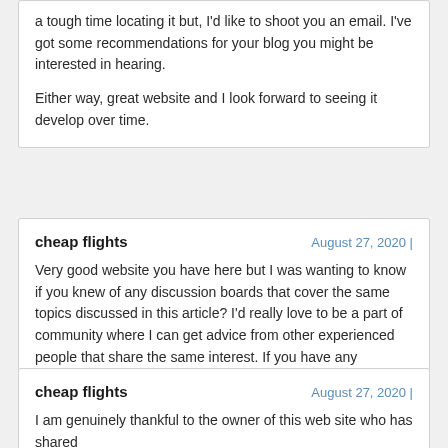a tough time locating it but, I'd like to shoot you an email. I've got some recommendations for your blog you might be interested in hearing.

Either way, great website and I look forward to seeing it develop over time.
cheap flights
August 27, 2020 |
Very good website you have here but I was wanting to know if you knew of any discussion boards that cover the same topics discussed in this article? I'd really love to be a part of community where I can get advice from other experienced people that share the same interest. If you have any recommendations, please let me know. Thanks!
cheap flights
August 27, 2020 |
I am genuinely thankful to the owner of this web site who has shared